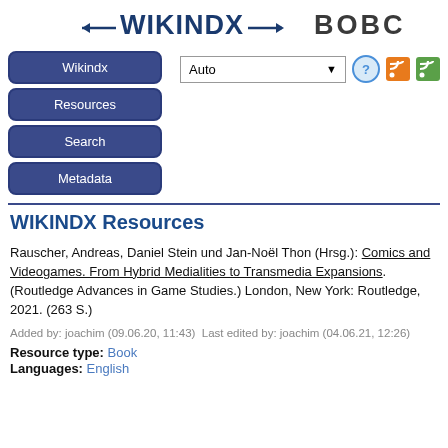WIKINDX    BOBC
Wikindx
Resources
Search
Metadata
WIKINDX Resources
Rauscher, Andreas, Daniel Stein und Jan-Noël Thon (Hrsg.): Comics and Videogames. From Hybrid Medialities to Transmedia Expansions. (Routledge Advances in Game Studies.) London, New York: Routledge, 2021. (263 S.)
Added by: joachim (09.06.20, 11:43)  Last edited by: joachim (04.06.21, 12:26)
Resource type: Book
Languages: English